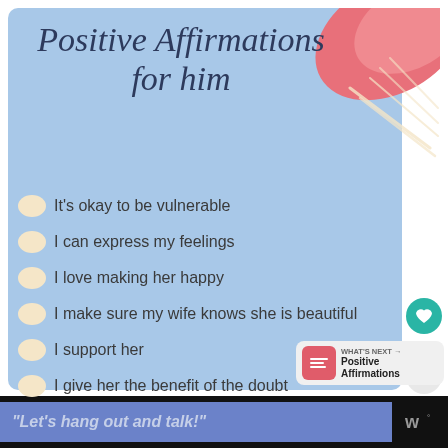Positive Affirmations for him
It's okay to be vulnerable
I can express my feelings
I love making her happy
I make sure my wife knows she is beautiful
I support her
I give her the benefit of the doubt
[Figure (infographic): Coral/pink decorative leaf or brush stroke shape in top right corner of the blue card]
2K
WHAT'S NEXT → Positive Affirmations
"Let's hang out and talk!"